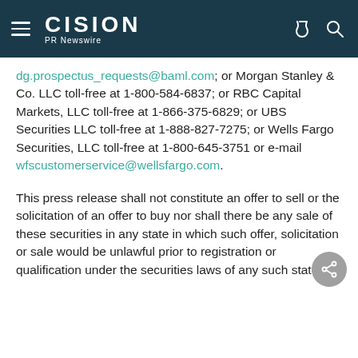CISION PR Newswire
dg.prospectus_requests@baml.com; or Morgan Stanley & Co. LLC toll-free at 1-800-584-6837; or RBC Capital Markets, LLC toll-free at 1-866-375-6829; or UBS Securities LLC toll-free at 1-888-827-7275; or Wells Fargo Securities, LLC toll-free at 1-800-645-3751 or e-mail wfscustomerservice@wellsfargo.com.
This press release shall not constitute an offer to sell or the solicitation of an offer to buy nor shall there be any sale of these securities in any state in which such offer, solicitation or sale would be unlawful prior to registration or qualification under the securities laws of any such state.